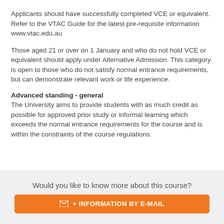Applicants should have successfully completed VCE or equivalent. Refer to the VTAC Guide for the latest pre-requisite information www.vtac.edu.au
Those aged 21 or over on 1 January and who do not hold VCE or equivalent should apply under Alternative Admission. This category is open to those who do not satisfy normal entrance requirements, but can demonstrate relevant work or life experience.
Advanced standing - general
The University aims to provide students with as much credit as possible for approved prior study or informal learning which exceeds the normal entrance requirements for the course and is within the constraints of the course regulations.
Would you like to know more about this course?
+ INFORMATION BY E-MAIL